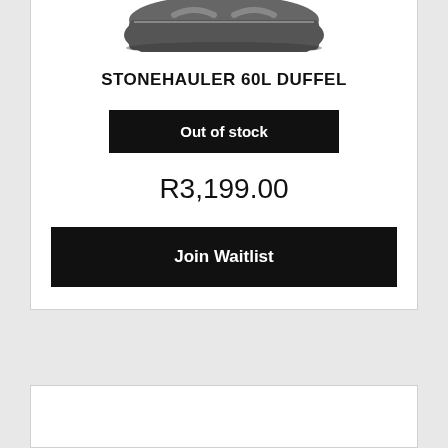[Figure (photo): Partial view of a dark grey/black duffel bag (Stonehauler 60L) shown from above, cropped at the top of the card]
STONEHAULER 60L DUFFEL
Out of stock
R3,199.00
Join Waitlist